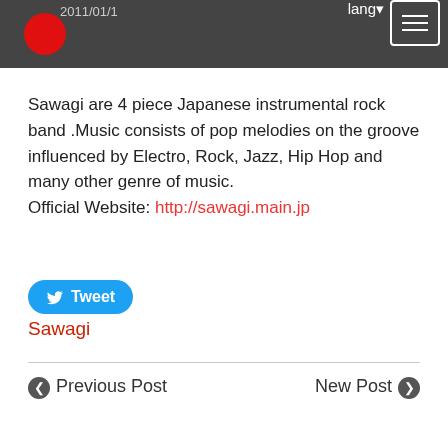2011/01/1
Sawagi are 4 piece Japanese instrumental rock band .Music consists of pop melodies on the groove influenced by Electro, Rock, Jazz, Hip Hop and many other genre of music.
Official Website: http://sawagi.main.jp
[Figure (other): Tweet button with Twitter bird icon]
Sawagi
Previous Post   New Post